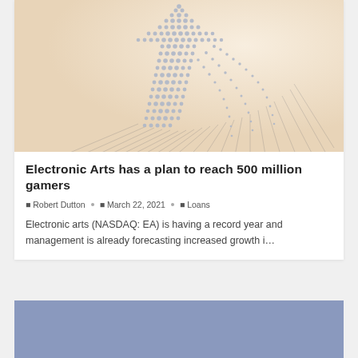[Figure (illustration): 3D render of many small human figures arranged in an upward-pointing arrow shape on a light peach background, casting long shadows.]
Electronic Arts has a plan to reach 500 million gamers
Robert Dutton  •  March 22, 2021  •  Loans
Electronic arts (NASDAQ: EA) is having a record year and management is already forecasting increased growth i…
[Figure (other): Partial blue-grey card at bottom of page]